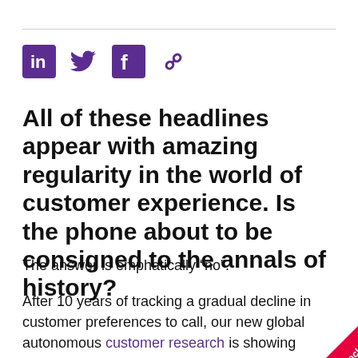[Figure (other): Social media share icons: LinkedIn (purple square), Twitter bird (purple), Facebook (purple square), chain link (purple)]
All of these headlines appear with amazing regularity in the world of customer experience. Is the phone about to be consigned to the annals of history?
The answer is emphatically “no”.
After 10 years of tracking a gradual decline in customer preferences to call, our new global autonomous customer research is showing